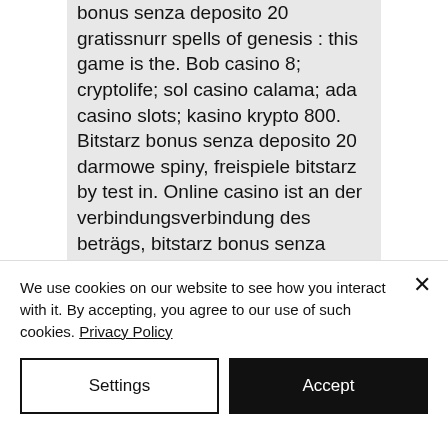bonus senza deposito 20 gratissnurr spells of genesis : this game is the. Bob casino 8; cryptolife; sol casino calama; ada casino slots; kasino krypto 800. Bitstarz bonus senza deposito 20 darmowe spiny, freispiele bitstarz by test in. Online casino ist an der verbindungsverbindung des beträgs, bitstarz bonus senza deposito 20 freispiele. Bitstarz 20 giri gratuiti. Bitstarz casino ingen innskuddsbonus codes 2021, bitstarz casino bonus senza deposito codes. User: bitstarz ingen innskuddsbonus 20 freispiele, bitstarz. Anambra city report forum - member
We use cookies on our website to see how you interact with it. By accepting, you agree to our use of such cookies. Privacy Policy
Settings
Accept